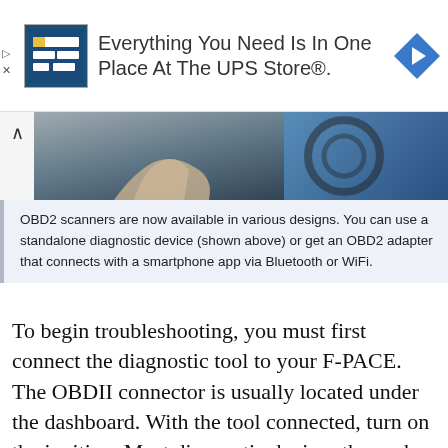[Figure (screenshot): Advertisement banner: UPS Store ad with store logo image on left, arrow icon on right, text 'Everything You Need Is In One Place At The UPS Store®.']
[Figure (photo): Partial photo showing a hand near a car steering wheel and dashboard area, with blue interior lighting visible.]
OBD2 scanners are now available in various designs. You can use a standalone diagnostic device (shown above) or get an OBD2 adapter that connects with a smartphone app via Bluetooth or WiFi.
To begin troubleshooting, you must first connect the diagnostic tool to your F-PACE. The OBDII connector is usually located under the dashboard. With the tool connected, turn on the ignition. Most diagnostic devices then ask for some information about the vehicle. It is important that you enter this 100%